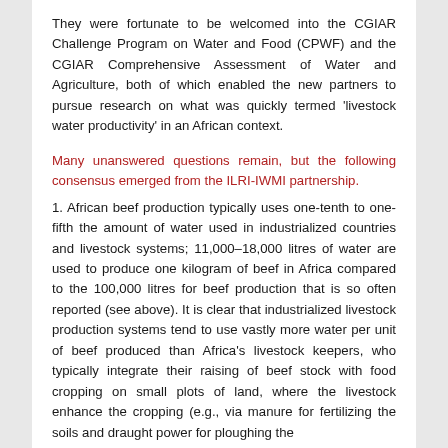They were fortunate to be welcomed into the CGIAR Challenge Program on Water and Food (CPWF) and the CGIAR Comprehensive Assessment of Water and Agriculture, both of which enabled the new partners to pursue research on what was quickly termed 'livestock water productivity' in an African context.
Many unanswered questions remain, but the following consensus emerged from the ILRI-IWMI partnership.
1. African beef production typically uses one-tenth to one-fifth the amount of water used in industrialized countries and livestock systems; 11,000–18,000 litres of water are used to produce one kilogram of beef in Africa compared to the 100,000 litres for beef production that is so often reported (see above). It is clear that industrialized livestock production systems tend to use vastly more water per unit of beef produced than Africa's livestock keepers, who typically integrate their raising of beef stock with food cropping on small plots of land, where the livestock enhance the cropping (e.g., via manure for fertilizing the soils and draught power for ploughing the